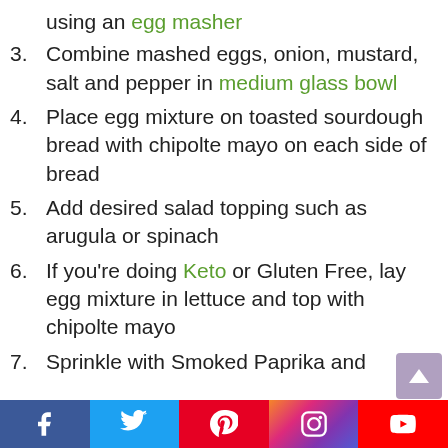using an egg masher
3. Combine mashed eggs, onion, mustard, salt and pepper in medium glass bowl
4. Place egg mixture on toasted sourdough bread with chipolte mayo on each side of bread
5. Add desired salad topping such as arugula or spinach
6. If you're doing Keto or Gluten Free, lay egg mixture in lettuce and top with chipolte mayo
7. Sprinkle with Smoked Paprika and
Facebook Twitter Pinterest Instagram YouTube social share bar